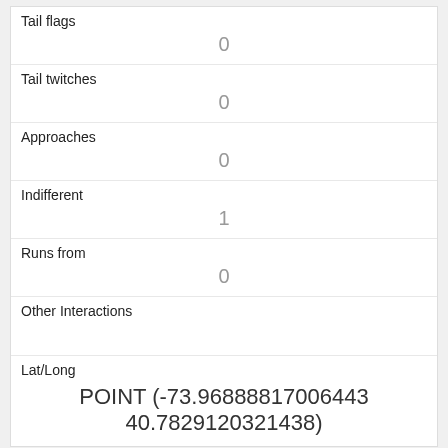| Tail flags | 0 |
| Tail twitches | 0 |
| Approaches | 0 |
| Indifferent | 1 |
| Runs from | 0 |
| Other Interactions |  |
| Lat/Long | POINT (-73.96888170064 40.7829120321438) |
| Link | 3003 |
| rowid | 3003 |
| longitude | -73.96888699066571 |